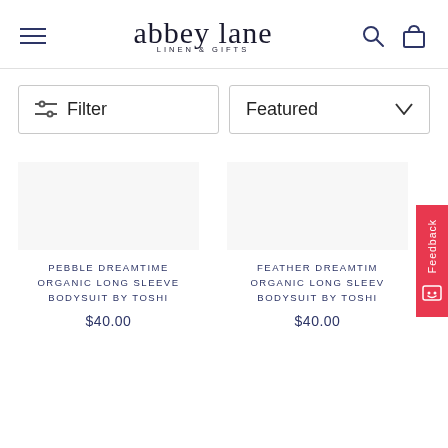[Figure (logo): Abbey Lane Linen & Gifts logo with hamburger menu, search icon, and bag icon in the header]
Filter
Featured
PEBBLE DREAMTIME ORGANIC LONG SLEEVE BODYSUIT BY TOSHI
$40.00
FEATHER DREAMTIME ORGANIC LONG SLEEVE BODYSUIT BY TOSHI
$40.00